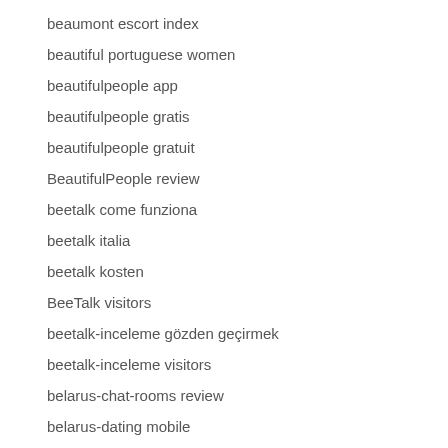beaumont escort index
beautiful portuguese women
beautifulpeople app
beautifulpeople gratis
beautifulpeople gratuit
BeautifulPeople review
beetalk come funziona
beetalk italia
beetalk kosten
BeeTalk visitors
beetalk-inceleme gözden geçirmek
beetalk-inceleme visitors
belarus-chat-rooms review
belarus-dating mobile
Belfast+United Kingdom reviews